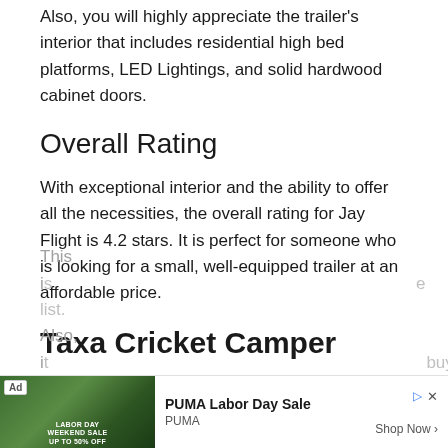Also, you will highly appreciate the trailer's interior that includes residential high bed platforms, LED Lightings, and solid hardwood cabinet doors.
Overall Rating
With exceptional interior and the ability to offer all the necessities, the overall rating for Jay Flight is 4.2 stars. It is perfect for someone who is looking for a small, well-equipped trailer at an affordable price.
Taxa Cricket Camper
Overview
This is ... the list. Also, it ... buy
[Figure (other): Advertisement banner for PUMA Labor Day Sale with green background image, Ad badge, shop now button]